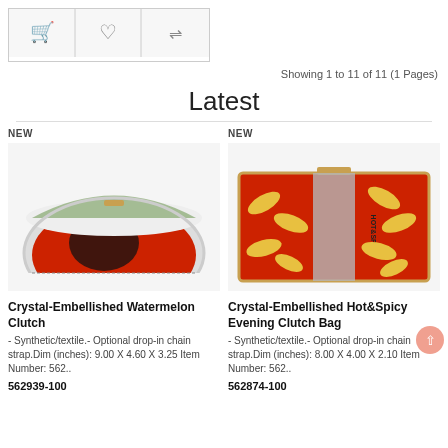[Figure (screenshot): Top navigation bar with cart, heart/wishlist, and filter icons in grey]
Showing 1 to 11 of 11 (1 Pages)
Latest
NEW
[Figure (photo): Crystal-Embellished Watermelon Clutch bag photo - red semicircle shape with black seeds pattern]
Crystal-Embellished Watermelon Clutch
- Synthetic/textile.- Optional drop-in chain strap.Dim (inches): 9.00 X 4.60 X 3.25 Item Number: 562..
562939-100
NEW
[Figure (photo): Crystal-Embellished Hot&Spicy Evening Clutch Bag - red rectangular clutch with chili pepper pattern and HOT&SPICY text]
Crystal-Embellished Hot&Spicy Evening Clutch Bag
- Synthetic/textile.- Optional drop-in chain strap.Dim (inches): 8.00 X 4.00 X 2.10 Item Number: 562..
562874-100